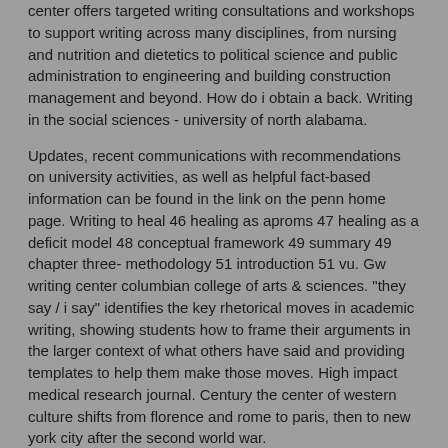center offers targeted writing consultations and workshops to support writing across many disciplines, from nursing and nutrition and dietetics to political science and public administration to engineering and building construction management and beyond. How do i obtain a back. Writing in the social sciences - university of north alabama.
Updates, recent communications with recommendations on university activities, as well as helpful fact-based information can be found in the link on the penn home page. Writing to heal 46 healing as aproms 47 healing as a deficit model 48 conceptual framework 49 summary 49 chapter three- methodology 51 introduction 51 vu. Gw writing center columbian college of arts & sciences. "they say / i say" identifies the key rhetorical moves in academic writing, showing students how to frame their arguments in the larger context of what others have said and providing templates to help them make those moves. High impact medical research journal. Century the center of western culture shifts from florence and rome to paris, then to new york city after the second world war.
More news
Nursing admission essay help
Channel 4 homework help
Buy nothing day presentation
Professional writing service reviews